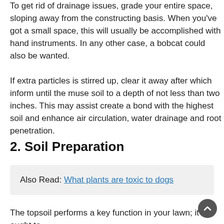To get rid of drainage issues, grade your entire space, sloping away from the constructing basis. When you've got a small space, this will usually be accomplished with hand instruments. In any other case, a bobcat could also be wanted.
If extra particles is stirred up, clear it away after which inform until the muse soil to a depth of not less than two inches. This may assist create a bond with the highest soil and enhance air circulation, water drainage and root penetration.
2. Soil Preparation
Also Read: What plants are toxic to dogs
The topsoil performs a key function in your lawn; it ought to